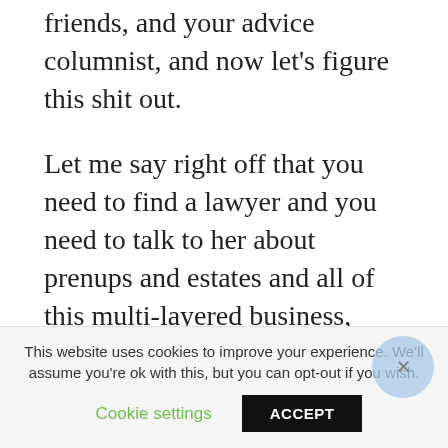trying to sell yourself, your friends, and your advice columnist, and now let's figure this shit out.
Let me say right off that you need to find a lawyer and you need to talk to her about prenups and estates and all of this multi-layered business, because this is serious stuff and you can't just wing it and hope for the best.
This website uses cookies to improve your experience. We'll assume you're ok with this, but you can opt-out if you wish.
Cookie settings
ACCEPT